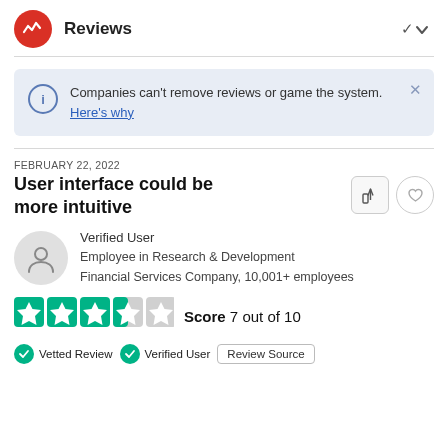Reviews
Companies can't remove reviews or game the system. Here's why
FEBRUARY 22, 2022
User interface could be more intuitive
Verified User
Employee in Research & Development
Financial Services Company, 10,001+ employees
Score 7 out of 10
Vetted Review  Verified User  Review Source